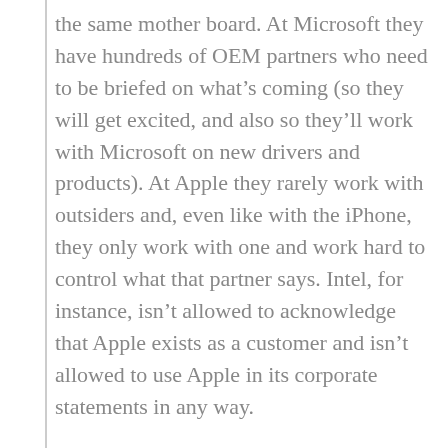the same mother board. At Microsoft they have hundreds of OEM partners who need to be briefed on what’s coming (so they will get excited, and also so they’ll work with Microsoft on new drivers and products). At Apple they rarely work with outsiders and, even like with the iPhone, they only work with one and work hard to control what that partner says. Intel, for instance, isn’t allowed to acknowledge that Apple exists as a customer and isn’t allowed to use Apple in its corporate statements in any way.
It is interesting watching Microsoft struggle in the post-Google era, though. And the fact that Apple got more market share with the iPhone in six months than Microsoft did after years of